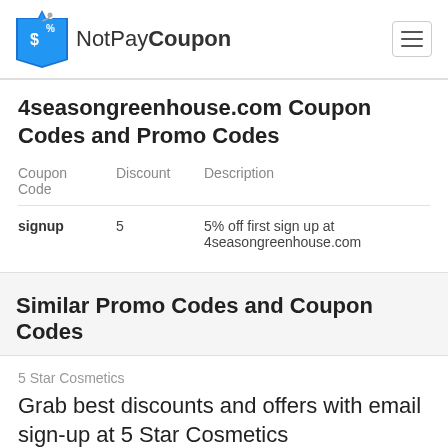NotPayCoupon
4seasongreenhouse.com Coupon Codes and Promo Codes
| Coupon Code | Discount | Description |
| --- | --- | --- |
| signup | 5 | 5% off first sign up at 4seasongreenhouse.com |
Similar Promo Codes and Coupon Codes
5 Star Cosmetics
Grab best discounts and offers with email sign-up at 5 Star Cosmetics
1
0 Votes
33 Views